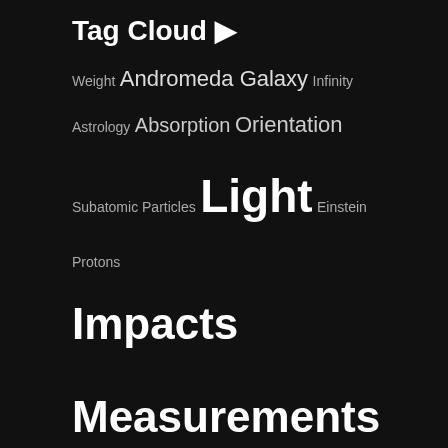Tag Cloud
Weight  Andromeda Galaxy  Infinity  Astrology  Absorption  Orientation  Subatomic Particles  Light  Einstein  Protons  Impacts  Measurements  Radioactive Dating  Diffraction  HII Region  Craters  H-R Diagram  BigBang  Parallel  Speed
Curious Minds Online
We have 3391 guests and no members online
How Many Were Here?